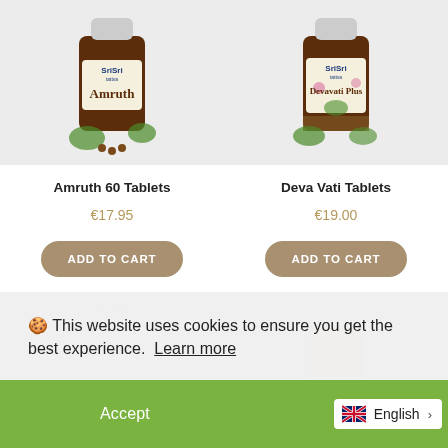[Figure (photo): Sri Sri Amruth herbal supplement bottle with green leaves and berries]
Amruth 60 Tablets
€17.95
ADD TO CART
[Figure (photo): Sri Sri Devavati Plus herbal supplement bottle with pink flowers and green turtle/leaf]
Deva Vati Tablets
€19.00
ADD TO CART
🍪 This website uses cookies to ensure you get the best experience. Learn more
Accept
English >